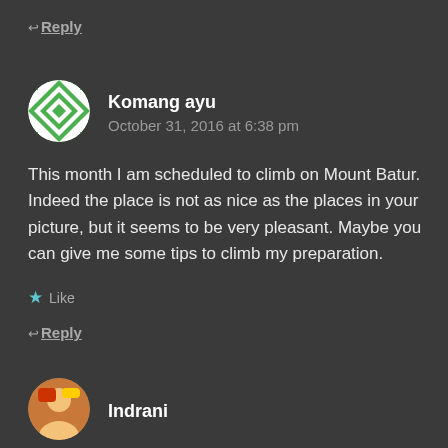← Reply
[Figure (illustration): Circular avatar with green and white checkered/diamond pattern (Gravatar-style icon) for user Komang ayu]
Komang ayu
October 31, 2016 at 6:38 pm
This month I am scheduled to climb on Mount Batur. Indeed the place is not as nice as the places in your picture, but it seems to be very pleasant. Maybe you can give me some tips to climb my preparation.
★ Like
← Reply
[Figure (photo): Circular avatar photo of user Indrani]
Indrani